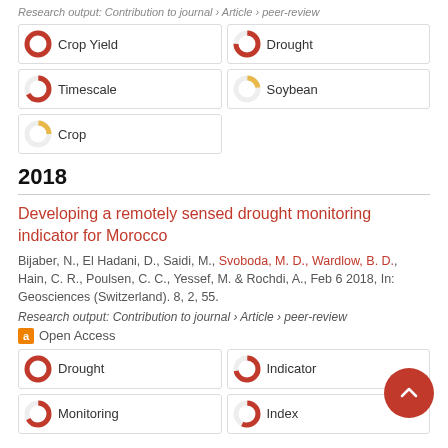Research output: Contribution to journal › Article › peer-review
100% Crop Yield
75% Drought
67% Timescale
22% Soybean
25% Crop
2018
Developing a remotely sensed drought monitoring indicator for Morocco
Bijaber, N., El Hadani, D., Saidi, M., Svoboda, M. D., Wardlow, B. D., Hain, C. R., Poulsen, C. C., Yessef, M. & Rochdi, A., Feb 6 2018, In: Geosciences (Switzerland). 8, 2, 55.
Research output: Contribution to journal › Article › peer-review
Open Access
100% Drought
72% Indicator
67% Monitoring
57% Index